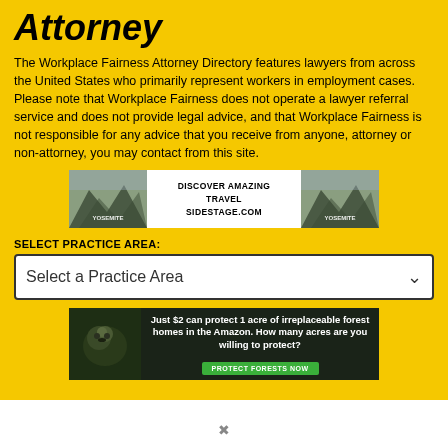Attorney
The Workplace Fairness Attorney Directory features lawyers from across the United States who primarily represent workers in employment cases. Please note that Workplace Fairness does not operate a lawyer referral service and does not provide legal advice, and that Workplace Fairness is not responsible for any advice that you receive from anyone, attorney or non-attorney, you may contact from this site.
[Figure (infographic): Travel advertisement banner showing mountain landscape (Yosemite) on both sides with white center panel reading DISCOVER AMAZING TRAVEL SIDESTAGE.COM]
SELECT PRACTICE AREA:
[Figure (screenshot): Dropdown select box labeled 'Select a Practice Area' with a chevron arrow]
[Figure (infographic): Amazon forest protection advertisement showing orangutan/animal in dark forest with text: Just $2 can protect 1 acre of irreplaceable forest homes in the Amazon. How many acres are you willing to protect? with green button PROTECT FORESTS NOW]